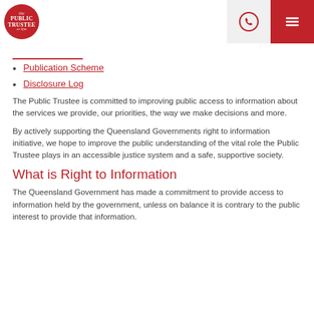Public Trustee logo, phone icon, menu icon
Publication Scheme
Disclosure Log
The Public Trustee is committed to improving public access to information about the services we provide, our priorities, the way we make decisions and more.
By actively supporting the Queensland Governments right to information initiative, we hope to improve the public understanding of the vital role the Public Trustee plays in an accessible justice system and a safe, supportive society.
What is Right to Information
The Queensland Government has made a commitment to provide access to information held by the government, unless on balance it is contrary to the public interest to provide that information.